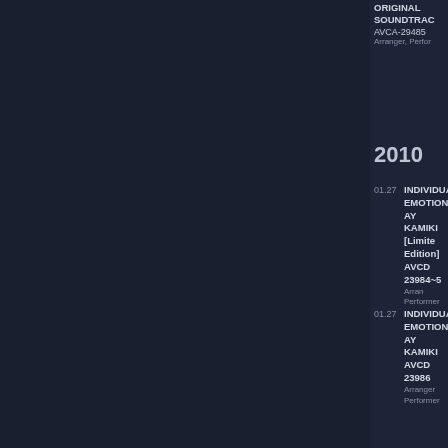ORIGINAL SOUNDTRACK AVCA-29485 Arranger, Performer
2010
01.27 INDIVIDUAL EMOTION / AY KAMIKI [Limited Edition] AVCD 23984~5 Arranger, Performer
01.27 INDIVIDUAL EMOTION / AY KAMIKI AVCD 23986 Arranger, Performer
06.23 PERSONA MU LIVE 2009 - Velvetroom in City Tokyo- [Limited Edition] ANZB 3183~4 Composer
06.23 PERSONA MU LIVE BAND S 7692 Composer
2011